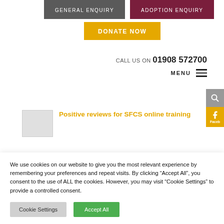[Figure (screenshot): Navigation buttons: GENERAL ENQUIRY (grey), ADOPTION ENQUIRY (dark red), DONATE NOW (yellow/amber)]
CALL US ON 01908 572700
MENU
Positive reviews for SFCS online training
We use cookies on our website to give you the most relevant experience by remembering your preferences and repeat visits. By clicking "Accept All", you consent to the use of ALL the cookies. However, you may visit "Cookie Settings" to provide a controlled consent.
Cookie Settings
Accept All